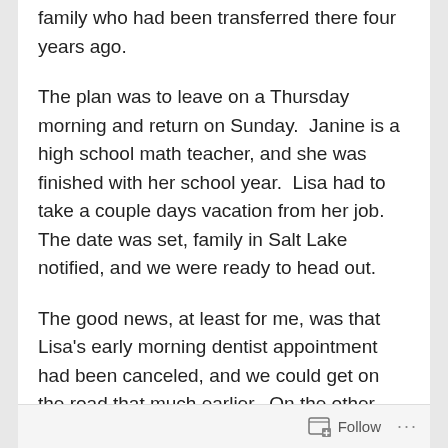family who had been transferred there four years ago.

The plan was to leave on a Thursday morning and return on Sunday.  Janine is a high school math teacher, and she was finished with her school year.  Lisa had to take a couple days vacation from her job.  The date was set, family in Salt Lake notified, and we were ready to head out.

The good news, at least for me, was that Lisa's early morning dentist appointment had been canceled, and we could get on the road that much earlier.  On the other hand, the car that had the oil change and bathed the day before, displayed a
Follow ···